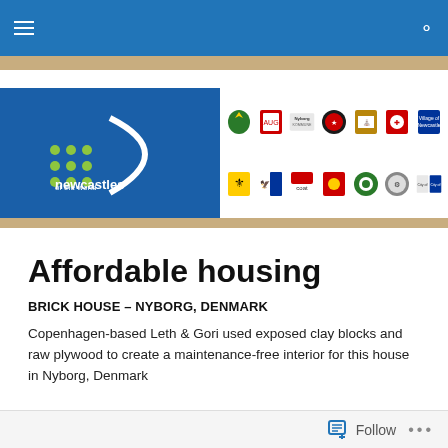Navigation bar with hamburger menu and search icon
[Figure (logo): Newcastles of the World banner with logo on blue background on left and a grid of city/municipality coat of arms logos on the right including Nyborg, Augsburg, and other member cities]
Affordable housing
BRICK HOUSE – NYBORG, DENMARK
Copenhagen-based Leth & Gori used exposed clay blocks and raw plywood to create a maintenance-free interior for this house in Nyborg, Denmark
Follow •••